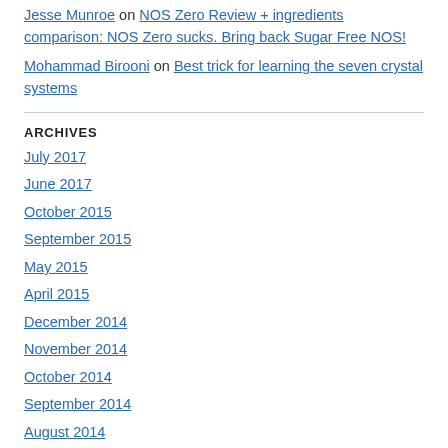Jesse Munroe on NOS Zero Review + ingredients comparison: NOS Zero sucks. Bring back Sugar Free NOS!
Mohammad Birooni on Best trick for learning the seven crystal systems
ARCHIVES
July 2017
June 2017
October 2015
September 2015
May 2015
April 2015
December 2014
November 2014
October 2014
September 2014
August 2014